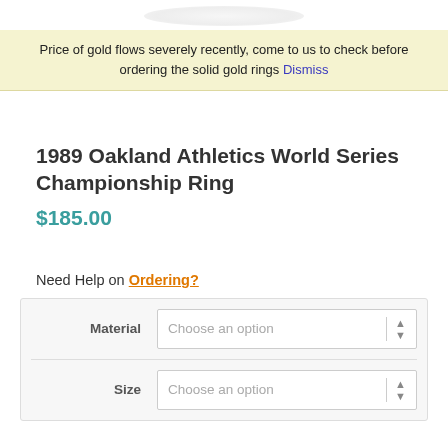[Figure (logo): Partial logo/banner image at top of page]
Price of gold flows severely recently, come to us to check before ordering the solid gold rings Dismiss
1989 Oakland Athletics World Series Championship Ring
$185.00
Need Help on Ordering?
| Material | Size |
| --- | --- |
| Choose an option | Choose an option |